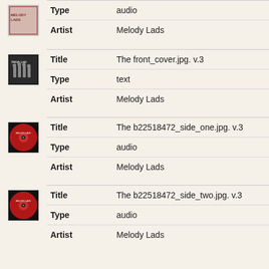|  | Field | Value |
| --- | --- | --- |
| [image] | Type | audio |
|  | Artist | Melody Lads |
| [image] | Title | The front_cover.jpg. v.3 |
|  | Type | text |
|  | Artist | Melody Lads |
| [image] | Title | The b22518472_side_one.jpg. v.3 |
|  | Type | audio |
|  | Artist | Melody Lads |
| [image] | Title | The b22518472_side_two.jpg. v.3 |
|  | Type | audio |
|  | Artist | Melody Lads |